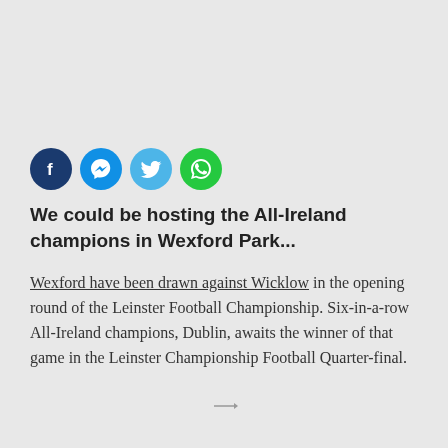[Figure (other): Social media share icons: Facebook (dark blue), Messenger (blue), Twitter (light blue), WhatsApp (green)]
We could be hosting the All-Ireland champions in Wexford Park...
Wexford have been drawn against Wicklow in the opening round of the Leinster Football Championship. Six-in-a-row All-Ireland champions, Dublin, awaits the winner of that game in the Leinster Championship Football Quarter-final.